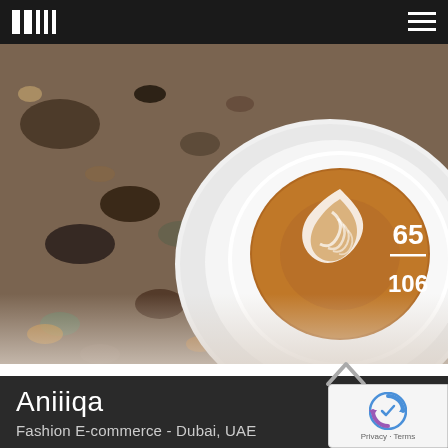Navigation bar with logo and menu icon
[Figure (photo): Overhead photo of a latte art coffee cup on a terrazzo stone surface. White caption overlay shows '65 / 106' on the right side.]
Aniiiqa
Fashion E-commerce - Dubai, UAE